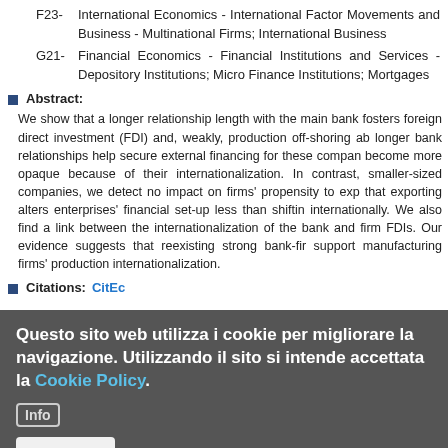F23- International Economics - International Factor Movements and Business - Multinational Firms; International Business
G21- Financial Economics - Financial Institutions and Services - Depository Institutions; Micro Finance Institutions; Mortgages
Abstract: We show that a longer relationship length with the main bank fosters foreign direct investment (FDI) and, weakly, production off-shoring ab longer bank relationships help secure external financing for these compan become more opaque because of their internationalization. In contrast, smaller-sized companies, we detect no impact on firms' propensity to exp that exporting alters enterprises' financial set-up less than shiftin internationally. We also find a link between the internationalization of the bank and firm FDIs. Our evidence suggests that reexisting strong bank-fir support manufacturing firms' production internationalization.
Citations: CitEc
Questo sito web utilizza i cookie per migliorare la navigazione. Utilizzando il sito si intende accettata la Cookie Policy.
Info
Accetto